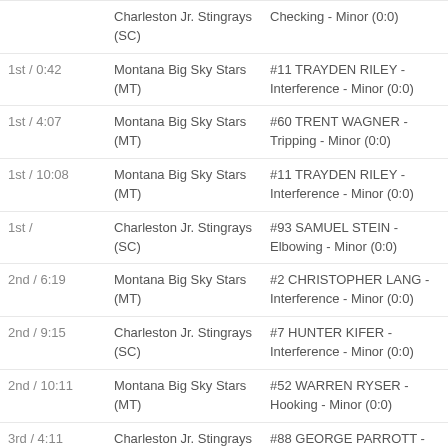| Period/Time | Team | Penalty |
| --- | --- | --- |
|  | Charleston Jr. Stingrays (SC) | Checking - Minor (0:0) |
| 1st / 0:42 | Montana Big Sky Stars (MT) | #11 TRAYDEN RILEY - Interference - Minor (0:0) |
| 1st / 4:07 | Montana Big Sky Stars (MT) | #60 TRENT WAGNER - Tripping - Minor (0:0) |
| 1st / 10:08 | Montana Big Sky Stars (MT) | #11 TRAYDEN RILEY - Interference - Minor (0:0) |
| 1st / | Charleston Jr. Stingrays (SC) | #93 SAMUEL STEIN - Elbowing - Minor (0:0) |
| 2nd / 6:19 | Montana Big Sky Stars (MT) | #2 CHRISTOPHER LANG - Interference - Minor (0:0) |
| 2nd / 9:15 | Charleston Jr. Stingrays (SC) | #7 HUNTER KIFER - Interference - Minor (0:0) |
| 2nd / 10:11 | Montana Big Sky Stars (MT) | #52 WARREN RYSER - Hooking - Minor (0:0) |
| 3rd / 4:11 | Charleston Jr. Stingrays (SC) | #88 GEORGE PARROTT - Roughing - Minor (0:0) |
| 3rd / 12:32 | Montana Big Sky Stars (MT) | #9 SAMUEL TRUFANT - Holding - Minor (0:0) |